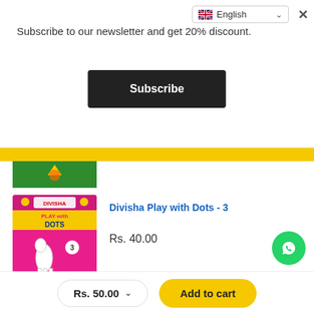Subscribe to our newsletter and get 20% discount.
Subscribe
[Figure (other): Partial book cover with green/star design at top]
Divisha Play with Dots - 3
[Figure (illustration): Divisha Play with Dots - 3 book cover: pink background with giraffe, boy and dot activities]
Rs. 40.00
AMAIRA WORD BOOK
[Figure (illustration): Amaira Word Book cover: colorful panels with apple, ship, car, boy, sunflower]
Rs. 90.00
Rs. 50.00
Add to cart